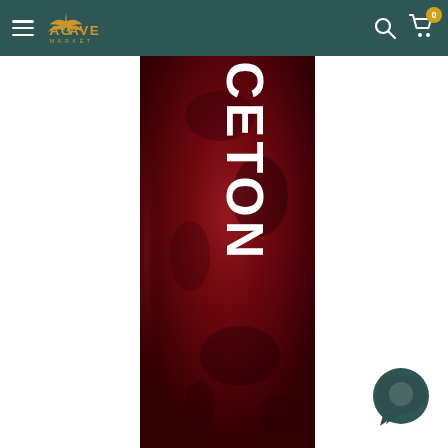Agave Market navigation bar with hamburger menu, logo, search icon, and cart (0)
[Figure (photo): Close-up photo of a cylindrical product (bottle or tube) with a dark red/burgundy background and large white bold text reading 'RINCETON' (part of 'PRINCETON') vertically on the label]
[Figure (other): Chat/messaging bubble icon in dark teal color, bottom-right corner]